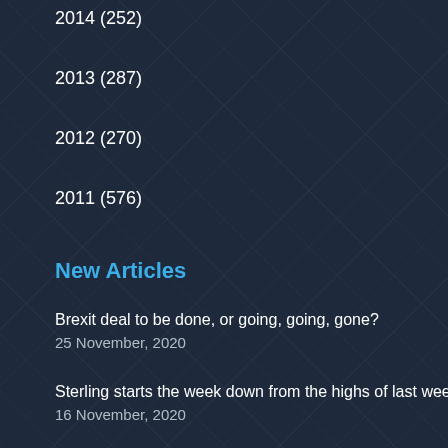2014 (252)
2013 (287)
2012 (270)
2011 (576)
New Articles
Brexit deal to be done, or going, going, gone?
25 November, 2020
Sterling starts the week down from the highs of last week
16 November, 2020
Votes are in – albeit still being counted, will Donald trump Joe?
4 November, 2020